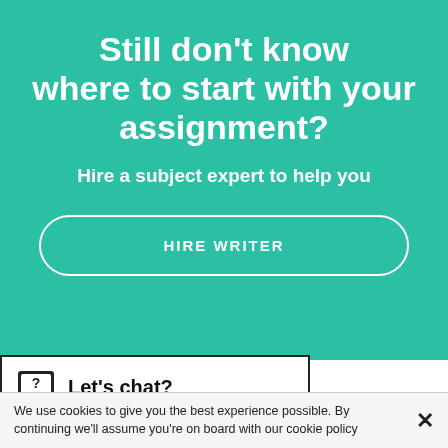Still don't know where to start with your assignment?
Hire a subject expert to help you
HIRE WRITER
Let's chat?
We use cookies to give you the best experience possible. By continuing we'll assume you're on board with our cookie policy